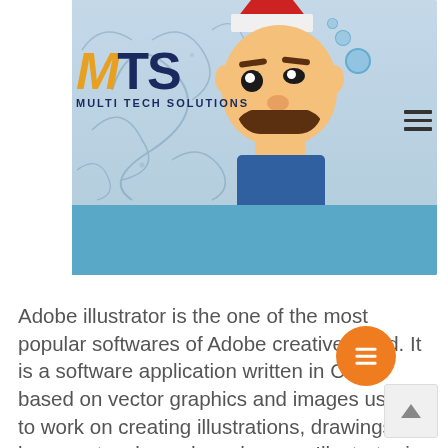[Figure (illustration): Website screenshot showing Multi Tech Solutions logo (MTS with golden M and dark blue TS letters, MULTI TECH SOLUTIONS subtitle) on left, hamburger menu icon on right. Banner area with light blue background showing a cartoon character (plumber-like figure with mustache and red hat) on the right side, a blue band at the bottom of the banner, and decorative swirl illustration on the left portion of the banner.]
Adobe illustrator is the one of the most popular softwares of Adobe creative cloud. It is a software application written in C++ based on vector graphics and images used to work on creating illustrations, drawings, logos, artworks and much more. Illustrator is mostly used by graphic designers, Web developers/designers, Artists and Professionals for different purposes to create spectacular illustrations and artworks. It has a wide range of tools inside the